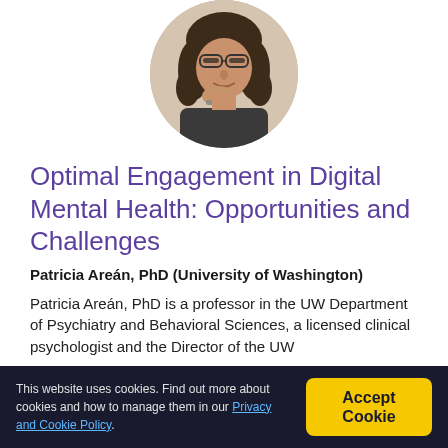[Figure (photo): Circular headshot of Patricia Areán, PhD — a woman with curly dark hair and glasses, resting her chin on her hand, wearing a dark jacket.]
Optimal Engagement in Digital Mental Health: Opportunities and Challenges
Patricia Areán, PhD (University of Washington)
Patricia Areán, PhD is a professor in the UW Department of Psychiatry and Behavioral Sciences, a licensed clinical psychologist and the Director of the UW
This website uses cookies. Find out more about cookies and how to manage them in our Privacy and Cookie Policy.   [Accept Cookie]